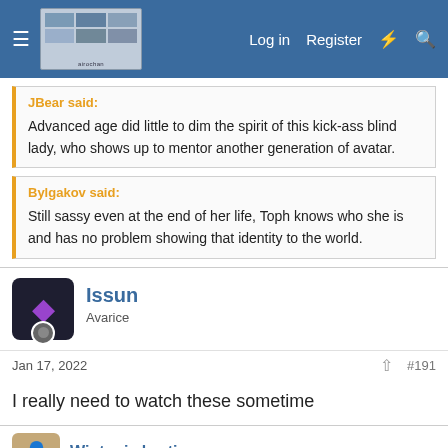Log in  Register
JBear said:
Advanced age did little to dim the spirit of this kick-ass blind lady, who shows up to mentor another generation of avatar.
Bylgakov said:
Still sassy even at the end of her life, Toph knows who she is and has no problem showing that identity to the world.
Issun
Avarice
Jan 17, 2022   #191
I really need to watch these sometime
Winter is hurtint...